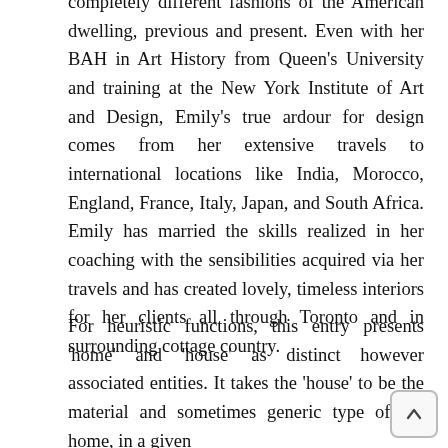completely different fashions of the American dwelling, previous and present. Even with her BAH in Art History from Queen's University and training at the New York Institute of Art and Design, Emily's true ardour for design comes from her extensive travels to international locations like India, Morocco, England, France, Italy, Japan, and South Africa. Emily has married the skills realized in her coaching with the sensibilities acquired via her travels and has created lovely, timeless interiors for her clients all through Toronto and in surrounding cottage country.
For heuristic functions, this entry presents 'home' and 'house' as distinct however associated entities. It takes the 'house' to be the material and sometimes generic type of the home, in a given